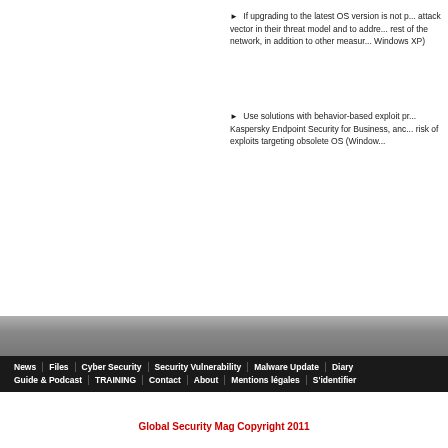If upgrading to the latest OS version is not possible, organizations should consider this as an attack vector in their threat model and to address it by segmenting these systems from the rest of the network, in addition to other measures (e.g. avoiding internet browsing under Windows XP)
Use solutions with behavior-based exploit prevention, such as the one included in Kaspersky Endpoint Security for Business, and similar endpoint products, to mitigate the risk of exploits targeting obsolete OS (Windows XP, Windows 7, etc.)
News | Files | Cyber Security | Security Vulnerability | Malware Update | Diary | Guide & Podcast | TRAINING | Contact | About | Mentions légales | S'identifier
Global Security Mag Copyright 2011